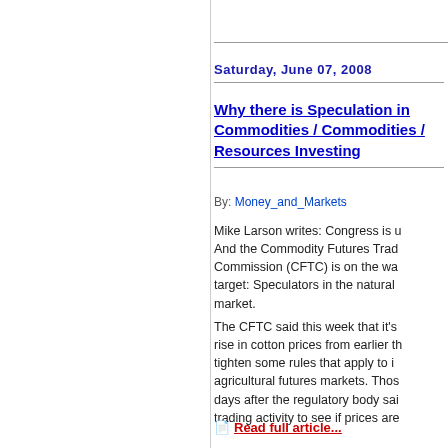Saturday, June 07, 2008
Why there is Speculation in Commodities / Commodities / Resources Investing
By: Money_and_Markets
Mike Larson writes: Congress is u... And the Commodity Futures Trad... Commission (CFTC) is on the wa... target: Speculators in the natural... market.
The CFTC said this week that it's... rise in cotton prices from earlier th... tighten some rules that apply to i... agricultural futures markets. Thos... days after the regulatory body sai... trading activity to see if prices are...
Read full article...